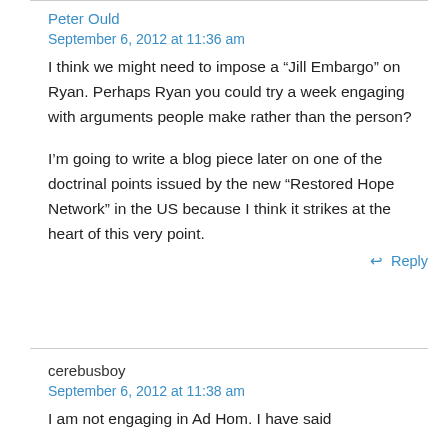Peter Ould
September 6, 2012 at 11:36 am
I think we might need to impose a “Jill Embargo” on Ryan. Perhaps Ryan you could try a week engaging with arguments people make rather than the person?
I’m going to write a blog piece later on one of the doctrinal points issued by the new “Restored Hope Network” in the US because I think it strikes at the heart of this very point.
Reply
cerebusboy
September 6, 2012 at 11:38 am
I am not engaging in Ad Hom. I have said